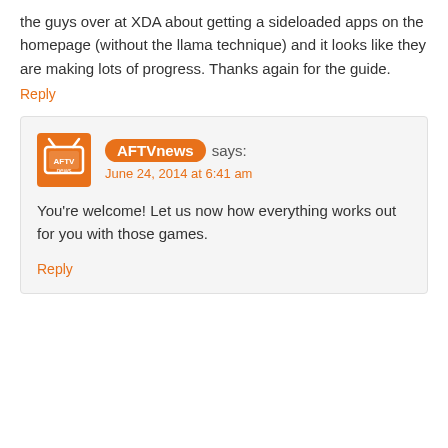the guys over at XDA about getting a sideloaded apps on the homepage (without the llama technique) and it looks like they are making lots of progress. Thanks again for the guide.
Reply
AFTVnews says:
June 24, 2014 at 6:41 am
You're welcome! Let us now how everything works out for you with those games.
Reply